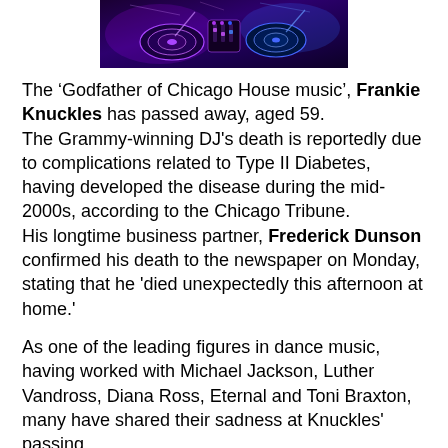[Figure (photo): A DJ mixing console/turntable setup with purple and blue lighting against a dark background]
The 'Godfather of Chicago House music', Frankie Knuckles has passed away, aged 59.
The Grammy-winning DJ's death is reportedly due to complications related to Type II Diabetes, having developed the disease during the mid-2000s, according to the Chicago Tribune.
His longtime business partner, Frederick Dunson confirmed his death to the newspaper on Monday, stating that he 'died unexpectedly this afternoon at home.'
As one of the leading figures in dance music, having worked with Michael Jackson, Luther Vandross, Diana Ross, Eternal and Toni Braxton, many have shared their sadness at Knuckles' passing.
Grammy-winning American house music DJ and producer, David Morales confirmed the news on Twitter: 'I am devastated to write that my dear friend Frankie Knuckles has passed away today. Can't write anymore than this at the